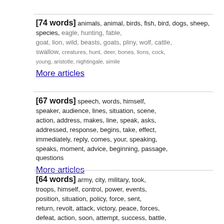[74 words] animals, animal, birds, fish, bird, dogs, sheep, species, eagle, hunting, fable, goat, lion, wild, beasts, goats, pliny, wolf, cattle, swallow, creatures, hunt, deer, bones, lions, cock, young, aristotle, nightingale, simile
More articles
[67 words] speech, words, himself, speaker, audience, lines, situation, scene, action, address, makes, line, speak, asks, addressed, response, begins, take, effect, immediately, reply, comes, your, speaking, speaks, moment, advice, beginning, passage, questions
More articles
[64 words] army, city, military, took, troops, himself, control, power, events, position, situation, policy, force, sent, return, revolt, attack, victory, peace, forces, defeat, action, soon, attempt, success, battle, enemy, became, command, remained
More articles